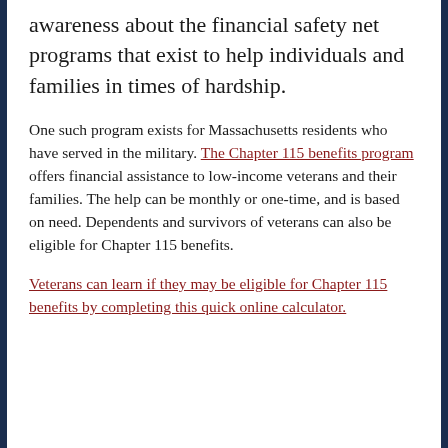awareness about the financial safety net programs that exist to help individuals and families in times of hardship.
One such program exists for Massachusetts residents who have served in the military. The Chapter 115 benefits program offers financial assistance to low-income veterans and their families. The help can be monthly or one-time, and is based on need. Dependents and survivors of veterans can also be eligible for Chapter 115 benefits.
Veterans can learn if they may be eligible for Chapter 115 benefits by completing this quick online calculator.